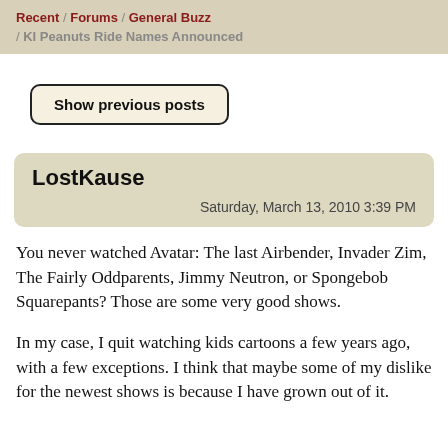Recent / Forums / General Buzz / KI Peanuts Ride Names Announced
Show previous posts
LostKause
Saturday, March 13, 2010 3:39 PM
You never watched Avatar: The last Airbender, Invader Zim, The Fairly Oddparents, Jimmy Neutron, or Spongebob Squarepants? Those are some very good shows.
In my case, I quit watching kids cartoons a few years ago, with a few exceptions. I think that maybe some of my dislike for the newest shows is because I have grown out of it.